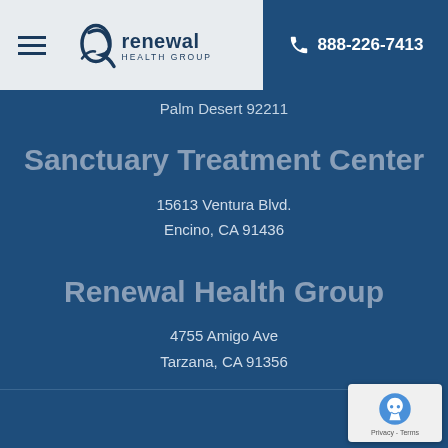Renewal Health Group | 888-226-7413
Palm Desert 92211
Sanctuary Treatment Center
15613 Ventura Blvd.
Encino, CA 91436
Renewal Health Group
4755 Amigo Ave
Tarzana, CA 91356
[Figure (logo): reCAPTCHA privacy badge in bottom right corner]